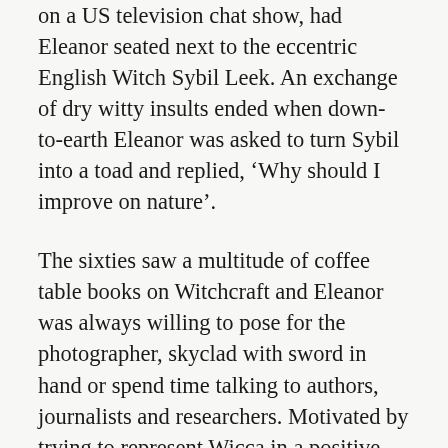on a US television chat show, had Eleanor seated next to the eccentric English Witch Sybil Leek. An exchange of dry witty insults ended when down-to-earth Eleanor was asked to turn Sybil into a toad and replied, ‘Why should I improve on nature’.
The sixties saw a multitude of coffee table books on Witchcraft and Eleanor was always willing to pose for the photographer, skyclad with sword in hand or spend time talking to authors, journalists and researchers. Motivated by trying to represent Wicca in a positive light, her hope was that modern society would finally accept Wicca as a legitimate religion alongside Christianity, Buddhism, Hinduism etc.